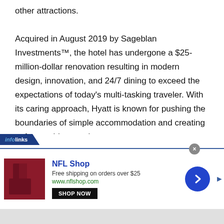other attractions.
Acquired in August 2019 by Sageblan Investments™, the hotel has undergone a $25-million-dollar renovation resulting in modern design, innovation, and 24/7 dining to exceed the expectations of today's multi-tasking traveler. With its caring approach, Hyatt is known for pushing the boundaries of simple accommodation and creating unforgettable experiences.
[Figure (other): Infolinks advertisement banner for NFL Shop. Contains NFL Shop logo area with dark red image, text 'NFL Shop', 'Free shipping on orders over $25', 'www.nflshop.com', a 'SHOP NOW' button, and a blue circular arrow button.]